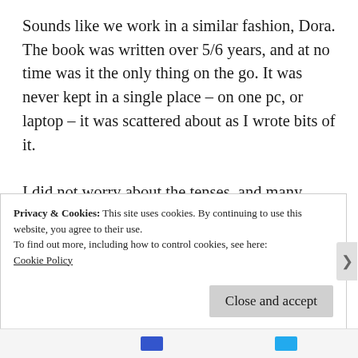Sounds like we work in a similar fashion, Dora. The book was written over 5/6 years, and at no time was it the only thing on the go. It was never kept in a single place – on one pc, or laptop – it was scattered about as I wrote bits of it.
I did not worry about the tenses, and many other things, until I brought the lot together when I felt it was complete to first draft. Then, I gathered all the bits together into one
Privacy & Cookies: This site uses cookies. By continuing to use this website, you agree to their use.
To find out more, including how to control cookies, see here: Cookie Policy
Close and accept